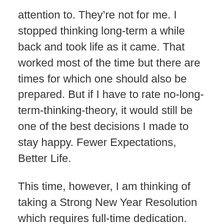attention to. They're not for me. I stopped thinking long-term a while back and took life as it came. That worked most of the time but there are times for which one should also be prepared. But if I have to rate no-long-term-thinking-theory, it would still be one of the best decisions I made to stay happy. Fewer Expectations, Better Life.
This time, however, I am thinking of taking a Strong New Year Resolution which requires full-time dedication. We will come to that in a minute or so. The year 2016 was a fine year by the way. Although I changed my 'status' that year, still I lived alone for 8 months. The latter part of 2016 was not good though. I got to know that Depression was something real when it happened to one of my close ones. Also, I had a motorbike accident which left me with not being able to use my right hand for more than 2 weeks. Plus, in my journey to be a more confident speaker, I came across an obstacle which made me